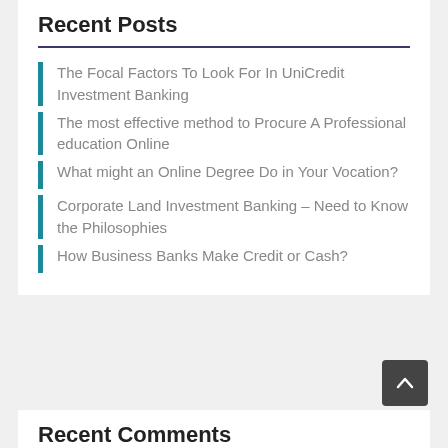Recent Posts
The Focal Factors To Look For In UniCredit Investment Banking
The most effective method to Procure A Professional education Online
What might an Online Degree Do in Your Vocation?
Corporate Land Investment Banking – Need to Know the Philosophies
How Business Banks Make Credit or Cash?
Recent Comments